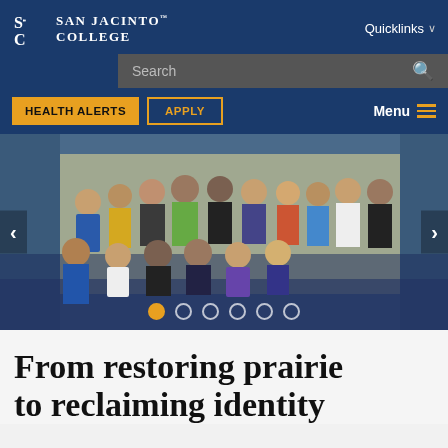San Jacinto College
[Figure (screenshot): San Jacinto College website header showing navigation with Quicklinks dropdown, Search bar, Health Alerts and Apply buttons, and Menu icon]
[Figure (photo): Group photo of approximately 20 diverse college students posing together indoors, with carousel navigation arrows and dot indicators showing 6 slides]
From restoring prairie to reclaiming identity